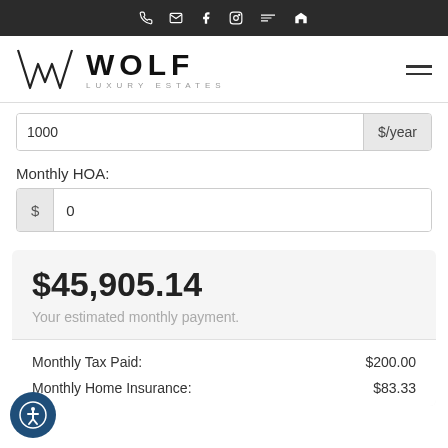[Figure (logo): Wolf Luxury Estates logo with stylized W mark]
1000
$/year
Monthly HOA:
0
$45,905.14
Your estimated monthly payment.
Monthly Tax Paid:
$200.00
Monthly Home Insurance:
$83.33